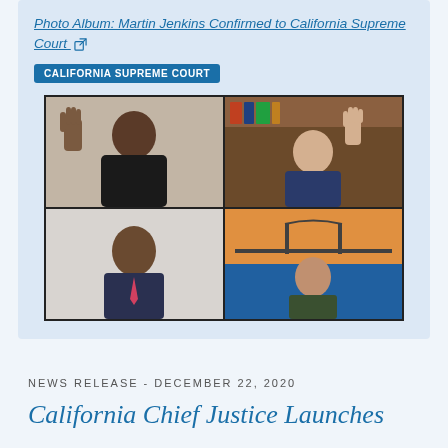Photo Album: Martin Jenkins Confirmed to California Supreme Court [external link]
CALIFORNIA SUPREME COURT
[Figure (photo): Video conference screenshot showing four participants in a 2x2 grid: top-left shows a man in judicial robes raising his right hand and smiling, top-right shows a man in a suit raising his hand with bookshelves in background, bottom-left shows a man in a suit smiling, bottom-right shows a woman smiling with a bridge and sunset backdrop.]
NEWS RELEASE - DECEMBER 22, 2020
California Chief Justice Launches